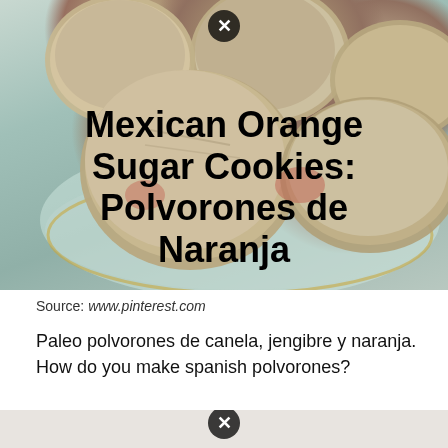[Figure (photo): Photo of Mexican orange sugar cookies (polvorones) on a plate with text overlay: 'Mexican Orange Sugar Cookies: Polvorones de Naranja']
Source: www.pinterest.com
Paleo polvorones de canela, jengibre y naranja. How do you make spanish polvorones?
[Figure (photo): Bottom partial image strip with close button]